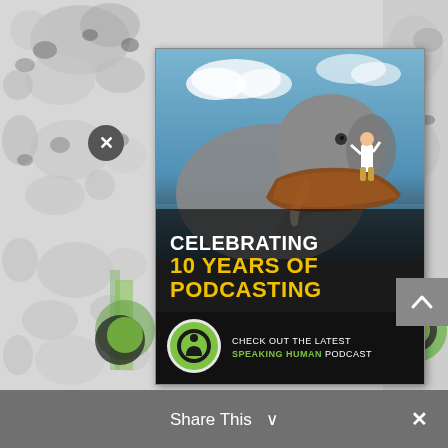[Figure (illustration): Background collage of grayscale cow/animal images on left and right sides]
[Figure (illustration): Podcast promotional card showing an elephant holding a boat with a person on top, with text 'CELEBRATING 10 YEARS OF PODCASTING' and 'CHECK OUT THE LATEST SPEAKING HUMAN PODCAST' with the Speaking Human podcast logo]
CHECK OUT THE LATEST SPEAKING HUMAN PODCAST
Share This ∨ ×